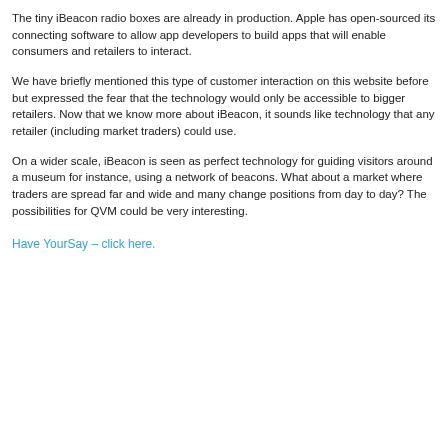The tiny iBeacon radio boxes are already in production. Apple has open-sourced its connecting software to allow app developers to build apps that will enable consumers and retailers to interact.
We have briefly mentioned this type of customer interaction on this website before but expressed the fear that the technology would only be accessible to bigger retailers. Now that we know more about iBeacon, it sounds like technology that any retailer (including market traders) could use.
On a wider scale, iBeacon is seen as perfect technology for guiding visitors around a museum for instance, using a network of beacons. What about a market where traders are spread far and wide and many change positions from day to day? The possibilities for QVM could be very interesting.
Have YourSay – click here.